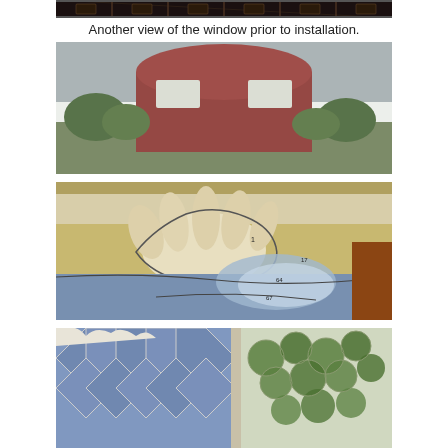[Figure (photo): Top strip: partial view of a decorative stained glass window with dark geometric patterns, cropped at the top of the page.]
Another view of the window prior to installation.
[Figure (photo): A blurred photograph showing a red barn with a rounded roof, surrounded by green trees and foliage. White rectangular shapes (possibly signs or windows) are visible on the barn.]
[Figure (photo): Close-up detail of a stained glass window showing hands rendered in cream and beige glass pieces, with blue and iridescent glass pieces below, and small numbered markers visible.]
[Figure (photo): Bottom partial view of a stained glass window showing blue and white glass pieces with green leafy floral motifs along the right side, and a white cloud-like border at the top.]